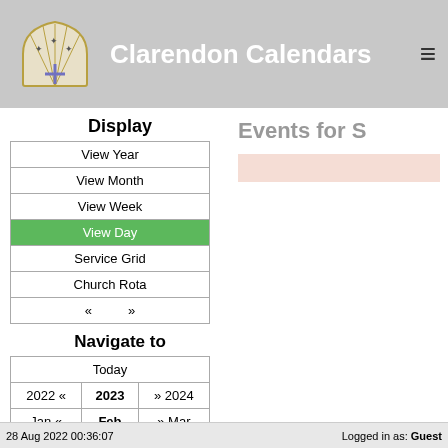Clarendon Calendars
Display
| View Year |
| View Month |
| View Week |
| View Day |
| Service Grid |
| Church Rota |
| «  » |
Navigate to
| Today |
| 2022 « | 2023 | » 2024 |
| Jan « | Feb | » Mar |
| 11 « | 12 | » 13 |
February 2023
| M | T | W | T | F | S | S |
| --- | --- | --- | --- | --- | --- | --- |
Events for S
28 Aug 2022 00:36:07   Logged in as: Guest